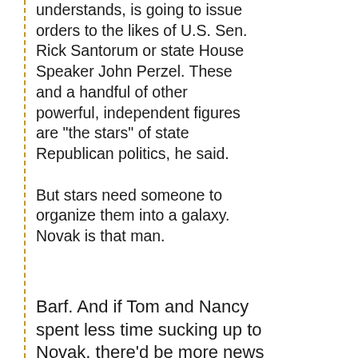understands, is going to issue orders to the likes of U.S. Sen. Rick Santorum or state House Speaker John Perzel. These and a handful of other powerful, independent figures are "the stars" of state Republican politics, he said.

But stars need someone to organize them into a galaxy. Novak is that man.
Barf. And if Tom and Nancy spent less time sucking up to Novak, there'd be more news